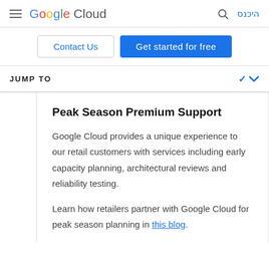Google Cloud — היכנס
[Figure (screenshot): Contact Us button and Get started for free button]
JUMP TO
Peak Season Premium Support
Google Cloud provides a unique experience to our retail customers with services including early capacity planning, architectural reviews and reliability testing.
Learn how retailers partner with Google Cloud for peak season planning in this blog.